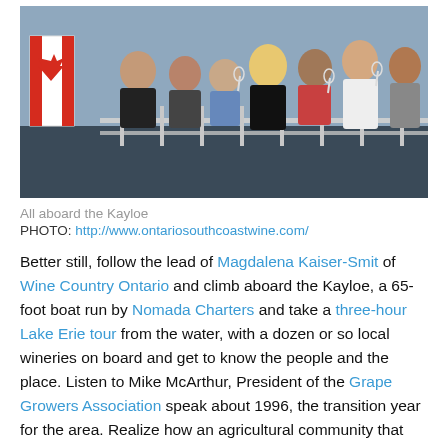[Figure (photo): Group of people standing on the deck of a boat, holding wine glasses, with a Canadian flag visible on the left. The boat deck has white railings.]
All aboard the Kayloe
PHOTO: http://www.ontariosouthcoastwine.com/
Better still, follow the lead of Magdalena Kaiser-Smit of Wine Country Ontario and climb aboard the Kayloe, a 65-foot boat run by Nomada Charters and take a three-hour Lake Erie tour from the water, with a dozen or so local wineries on board and get to know the people and the place. Listen to Mike McArthur, President of the Grape Growers Association speak about 1996, the transition year for the area. Realize how an agricultural community that once housed tobacco farms make a communal decision to